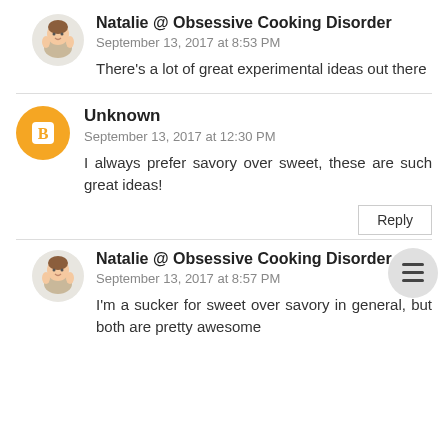Natalie @ Obsessive Cooking Disorder
September 13, 2017 at 8:53 PM

There's a lot of great experimental ideas out there
Unknown
September 13, 2017 at 12:30 PM

I always prefer savory over sweet, these are such great ideas!
Natalie @ Obsessive Cooking Disorder
September 13, 2017 at 8:57 PM

I'm a sucker for sweet over savory in general, but both are pretty awesome